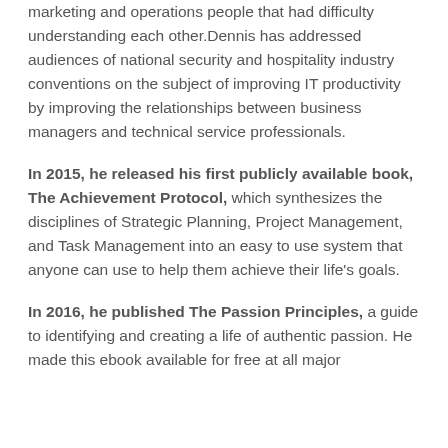marketing and operations people that had difficulty understanding each other.Dennis has addressed audiences of national security and hospitality industry conventions on the subject of improving IT productivity by improving the relationships between business managers and technical service professionals.
In 2015, he released his first publicly available book, The Achievement Protocol, which synthesizes the disciplines of Strategic Planning, Project Management, and Task Management into an easy to use system that anyone can use to help them achieve their life's goals.
In 2016, he published The Passion Principles, a guide to identifying and creating a life of authentic passion. He made this ebook available for free at all major